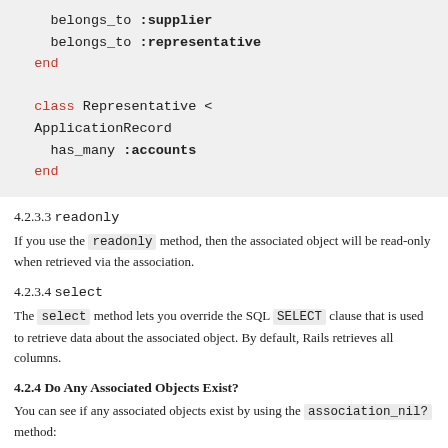[Figure (screenshot): Code block showing Ruby code: belongs_to :supplier, belongs_to :representative, end, class Representative < ApplicationRecord, has_many :accounts, end]
4.2.3.3 readonly
If you use the readonly method, then the associated object will be read-only when retrieved via the association.
4.2.3.4 select
The select method lets you override the SQL SELECT clause that is used to retrieve data about the associated object. By default, Rails retrieves all columns.
4.2.4 Do Any Associated Objects Exist?
You can see if any associated objects exist by using the association_nil? method: